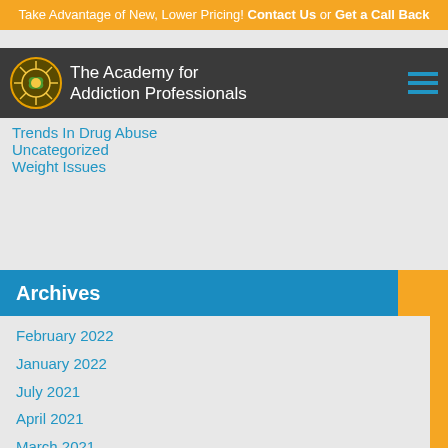Take Advantage of New, Lower Pricing! Contact Us or Get a Call Back
[Figure (logo): The Academy for Addiction Professionals logo with navigation bar]
Trends In Drug Abuse
Uncategorized
Weight Issues
Archives
February 2022
January 2022
July 2021
April 2021
March 2021
February 2021
January 2021
December 2020
August 2020
July 2020
June 2020